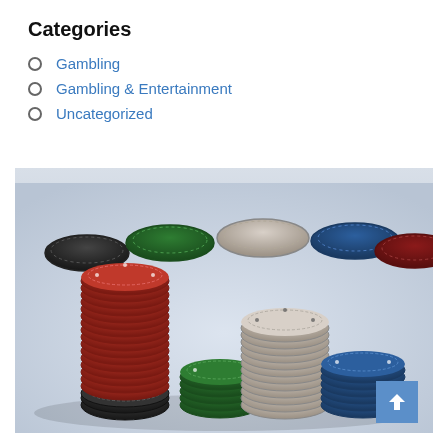Categories
Gambling
Gambling & Entertainment
Uncategorized
[Figure (photo): Stacks of colored casino poker chips (red, white/gray, blue, green, black) arranged on a light blue-gray surface. Multiple stacks of varying heights with single chips and groups of chips scattered around.]